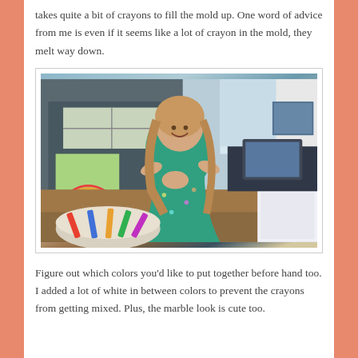takes quite a bit of crayons to fill the mold up. One word of advice from me is even if it seems like a lot of crayon in the mold, they melt way down.
[Figure (photo): A young girl with long blonde hair wearing a teal/green floral dress, smiling at the camera. She is sitting at a table with a bowl of crayons in the foreground. Behind her is a door with colorful artwork, curtains, and a living room area.]
Figure out which colors you'd like to put together before hand too. I added a lot of white in between colors to prevent the crayons from getting mixed. Plus, the marble look is cute too.